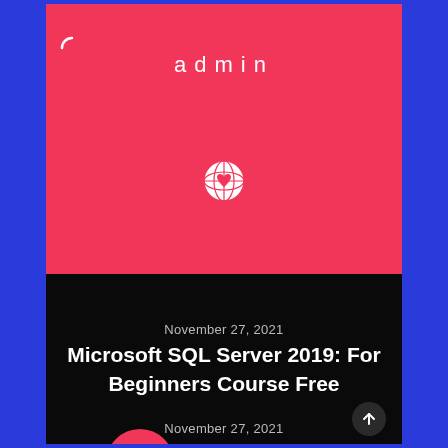admin
November 27, 2021
Microsoft SQL Server 2019: For Beginners Course Free
November 27, 2021